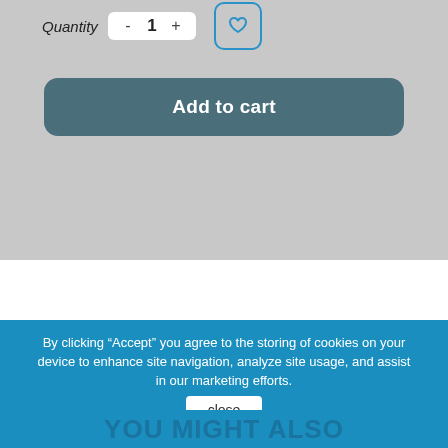Quantity  -  1  +
[Figure (screenshot): Wishlist/heart icon button with blue border]
Add to cart
By clicking “Accept” you agree to the storing of cookies on your device to enhance site navigation, analyze site usage, and assist in our marketing efforts.
close
YOU MIGHT ALSO